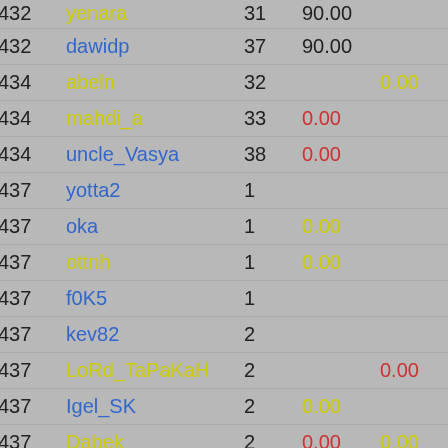| Rank | Name | N | V1 | V2 | Diff | Total |
| --- | --- | --- | --- | --- | --- | --- |
| 432 | yenara | 31 | 90.00 |  | -50 | 40.00 |
| 432 | dawidp | 37 | 90.00 |  | -50 | 40.00 |
| 434 | abeln | 32 |  | 0.00 | +25 | 25.00 |
| 434 | mahdi_a | 33 | 0.00 |  | +25 | 25.00 |
| 434 | uncle_Vasya | 38 | 0.00 |  | +25 | 25.00 |
| 437 | yotta2 | 1 |  |  |  | 0.00 |
| 437 | oka | 1 | 0.00 |  |  | 0.00 |
| 437 | ottnh | 1 | 0.00 |  |  | 0.00 |
| 437 | f0K5 | 1 |  |  |  | 0.00 |
| 437 | kev82 | 2 |  |  |  | 0.00 |
| 437 | LoRd_TaPaKaH | 2 |  | 0.00 |  | 0.00 |
| 437 | Igel_SK | 2 | 0.00 |  |  | 0.00 |
| 437 | Dabek | 2 | 0.00 | 0.00 |  | 0.00 |
| 437 | pablo.aguilar | 2 |  |  |  | 0.00 |
| 437 | nokia | 2 |  |  |  | 0.00 |